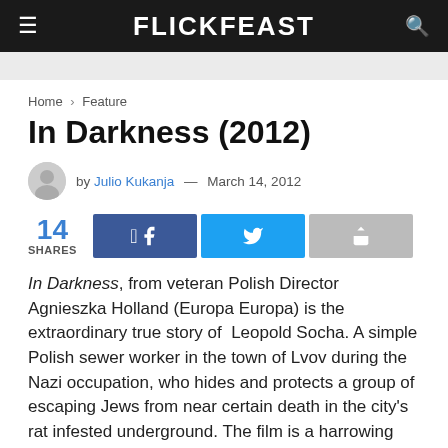FLICKFEAST
Home > Feature
In Darkness (2012)
by Julio Kukanja — March 14, 2012
14 SHARES
In Darkness, from veteran Polish Director Agnieszka Holland (Europa Europa) is the extraordinary true story of  Leopold Socha. A simple Polish sewer worker in the town of Lvov during the Nazi occupation, who hides and protects a group of escaping Jews from near certain death in the city's rat infested underground. The film is a harrowing account of life underground but